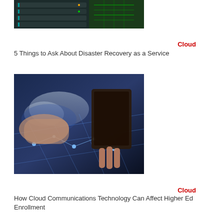[Figure (photo): Server rack / data center hardware with green circuit board visible]
Cloud
5 Things to Ask About Disaster Recovery as a Service
[Figure (photo): Hands holding a tablet with digital world map and network connection graphic overlay]
Cloud
How Cloud Communications Technology Can Affect Higher Ed Enrollment